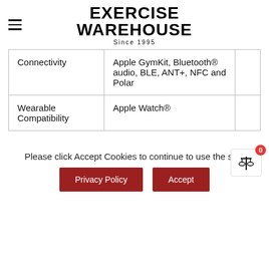EXERCISE WAREHOUSE Since 1995
| Feature | Value |  |
| --- | --- | --- |
| Connectivity | Apple GymKit, Bluetooth® audio, BLE, ANT+, NFC and Polar |  |
| Wearable Compatibility | Apple Watch® |  |
Please click Accept Cookies to continue to use the site.
Privacy Policy | Accept